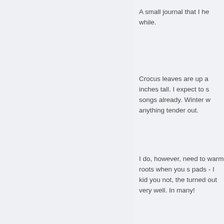A small journal that I he while.
Crocus leaves are up a inches tall. I expect to s songs already. Winter w anything tender out.
I do, however, need to warm roots when you s pads - I kid you not, the turned out very well. In many!
This year I will be plant have plants to set out i custom-grown vegetab
duckstead at iCloud do